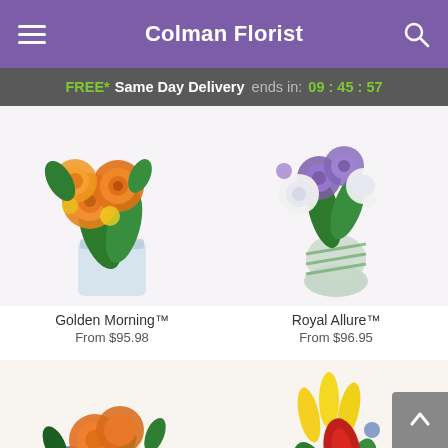Colman Florist
FREE* Same Day Delivery ends in: 09 : 45 : 57
[Figure (photo): Orange roses in a square glass vase - Golden Morning bouquet]
Golden Morning™
From $95.98
[Figure (photo): Purple and white flowers in a green-striped vase - Royal Allure bouquet]
Royal Allure™
From $96.95
[Figure (photo): Mixed orange roses, white lilies, blue and yellow flowers bouquet]
[Figure (photo): Yellow lilies, red gerbera daisies, and mixed colorful flowers arrangement]